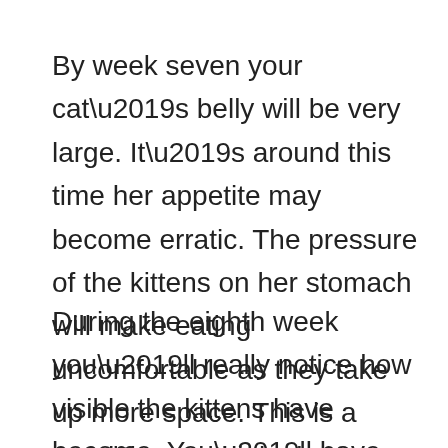By week seven your cat’s belly will be very large. It’s around this time her appetite may become erratic. The pressure of the kittens on her stomach will make eating uncomfortable as they take up more space. This is a good time to think about providing a queening box.
During the eighth week you’ll really notice how visible the kittens have become. You’ll have no trouble seeing them move under the surface of the skin. Don’t panic if you notice the fur